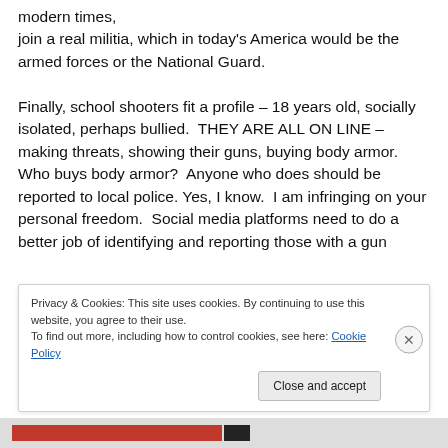modern times, join a real militia, which in today's America would be the armed forces or the National Guard.

Finally, school shooters fit a profile – 18 years old, socially isolated, perhaps bullied.  THEY ARE ALL ON LINE – making threats, showing their guns, buying body armor.  Who buys body armor?  Anyone who does should be reported to local police. Yes, I know.  I am infringing on your personal freedom.  Social media platforms need to do a better job of identifying and reporting those with a gun fetish to authorities, discouraging or reporting that the...
Privacy & Cookies: This site uses cookies. By continuing to use this website, you agree to their use.
To find out more, including how to control cookies, see here: Cookie Policy
Close and accept